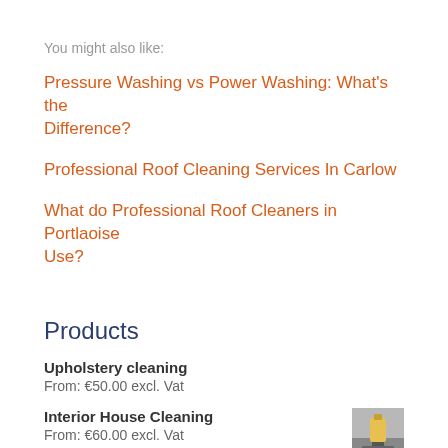You might also like:
Pressure Washing vs Power Washing: What's the Difference?
Professional Roof Cleaning Services In Carlow
What do Professional Roof Cleaners in Portlaoise Use?
Products
Upholstery cleaning
From: €50.00 excl. Vat
Interior House Cleaning
From: €60.00 excl. Vat
[Figure (photo): Small thumbnail image of interior house cleaning service]